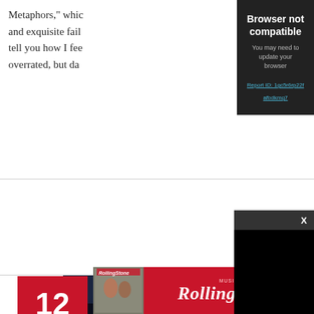Metaphors," whic and exquisite fail tell you how I fee overrated, but da
[Figure (screenshot): Browser not compatible overlay with dark background. Title: 'Browser not compatible'. Subtitle: 'You may need to update your browser'. Link: 'Report ID: 1gc5r6rp22fafbdkmg7']
[Figure (screenshot): Video player overlay with dark gray header bar containing an X close button, and a black content area below.]
[Figure (other): Red number badge showing '12' and a dark blue album/horror image with lightning bolt and house/building silhouette]
[Figure (other): Rolling Stone magazine advertisement banner. Red background with magazine thumbnail on left and Rolling Stone logo text on right.]